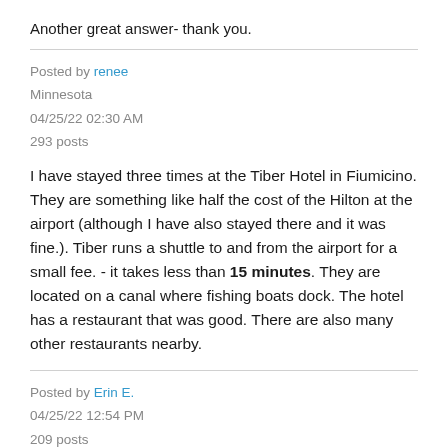Another great answer- thank you.
Posted by renee
Minnesota
04/25/22 02:30 AM
293 posts
I have stayed three times at the Tiber Hotel in Fiumicino. They are something like half the cost of the Hilton at the airport (although I have also stayed there and it was fine.). Tiber runs a shuttle to and from the airport for a small fee. - it takes less than 15 minutes. They are located on a canal where fishing boats dock. The hotel has a restaurant that was good. There are also many other restaurants nearby.
Posted by Erin E.
04/25/22 12:54 PM
209 posts